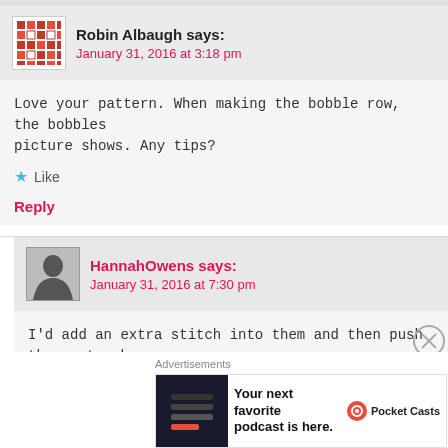Robin Albaugh says: January 31, 2016 at 3:18 pm
Love your pattern. When making the bobble row, the bobbles picture shows. Any tips?
Like
Reply
HannahOwens says: January 31, 2016 at 7:30 pm
I'd add an extra stitch into them and then push them out a b towards the back). Hope that helps!
Like
Advertisements
Your next favorite podcast is here. Pocket Casts